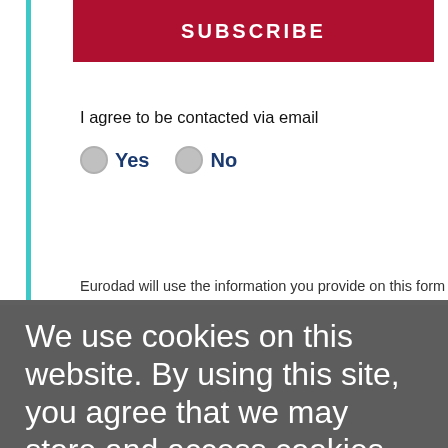SUBSCRIBE
I agree to be contacted via email
Yes   No
Eurodad will use the information you provide on this form to
We use cookies on this website. By using this site, you agree that we may store and access cookies on your device. Find out more about cookies by reading our Privacy Policy.